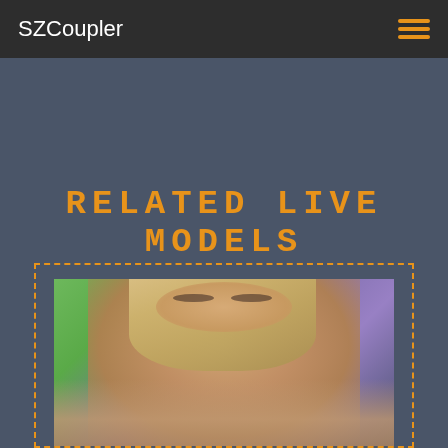SZCoupler
RELATED LIVE MODELS
[Figure (photo): Photo of a blonde woman in a live model webcam screenshot, with green and purple background, inside a dashed orange border card]